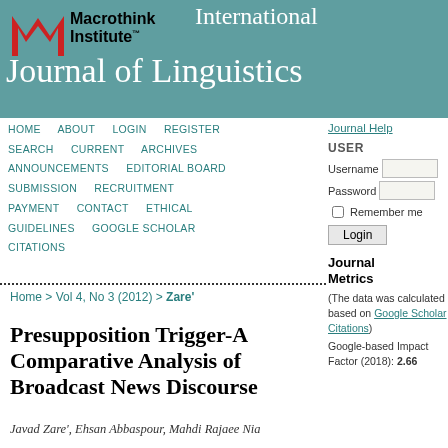[Figure (logo): Macrothink Institute logo with red M shape and black text, with International Journal of Linguistics in white on teal banner]
Macrothink Institute™ International Journal of Linguistics
HOME   ABOUT   LOGIN   REGISTER
SEARCH   CURRENT   ARCHIVES
ANNOUNCEMENTS   EDITORIAL BOARD
SUBMISSION   RECRUITMENT
PAYMENT   CONTACT   ETHICAL GUIDELINES   GOOGLE SCHOLAR CITATIONS
Home > Vol 4, No 3 (2012) > Zare'
Presupposition Trigger-A Comparative Analysis of Broadcast News Discourse
Javad Zare', Ehsan Abbaspour, Mahdi Rajaee Nia
Journal Metrics
(The data was calculated based on Google Scholar Citations)
Google-based Impact Factor (2018): 2.66